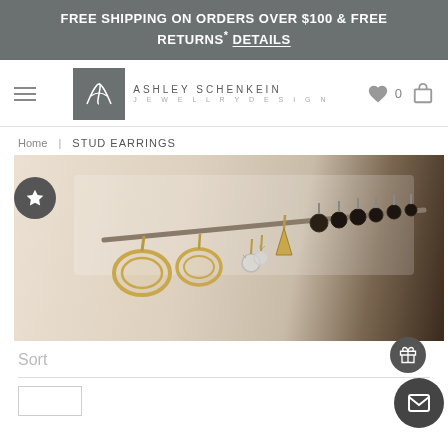FREE SHIPPING ON ORDERS OVER $100 & FREE RETURNS* DETAILS
[Figure (logo): Ashley Schenkein Jewellery Design logo with hamburger menu, heart icon with count 0, and cart icon]
Home | STUD EARRINGS
[Figure (photo): Close-up photo of stud earrings displayed on a white rod/bar, including gold hoop earrings, crystal studs, spike studs, and dark/black ball studs]
Sort